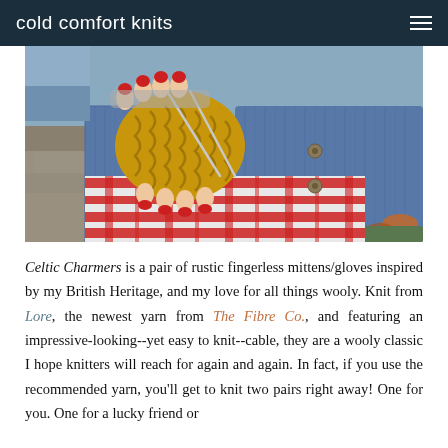cold comfort knits
[Figure (photo): Close-up photo of a person wearing mustard yellow cable-knit fingerless mittens/gloves, a red plaid skirt, and a denim jacket. The person has red nails and is holding their hands together in front of them.]
Celtic Charmers is a pair of rustic fingerless mittens/gloves inspired by my British Heritage, and my love for all things wooly. Knit from Lore, the newest yarn from The Fibre Co., and featuring an impressive-looking--yet easy to knit--cable, they are a wooly classic I hope knitters will reach for again and again. In fact, if you use the recommended yarn, you'll get to knit two pairs right away! One for you. One for a lucky friend or